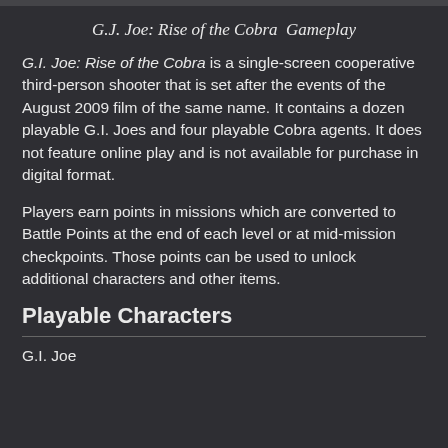G.J. Joe: Rise of the Cobra  Gameplay
G.I. Joe: Rise of the Cobra is a single-screen cooperative third-person shooter that is set after the events of the August 2009 film of the same name. It contains a dozen playable G.I. Joes and four playable Cobra agents. It does not feature online play and is not available for purchase in digital format.
Players earn points in missions which are converted to Battle Points at the end of each level or at mid-mission checkpoints. Those points can be used to unlock additional characters and other items.
Playable Characters
G.I. Joe